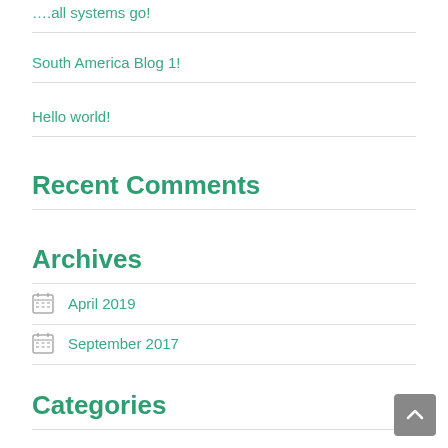….all systems go!
South America Blog 1!
Hello world!
Recent Comments
Archives
April 2019
September 2017
Categories